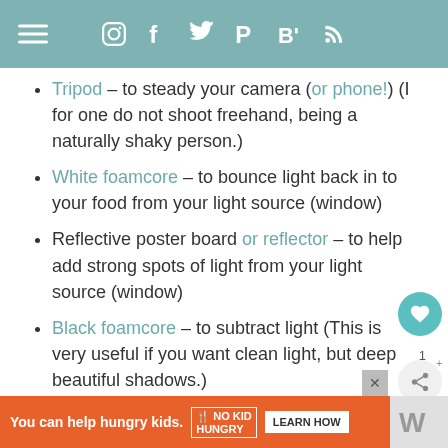Navigation header with hamburger menu and social icons: Instagram, Facebook, Twitter, Pinterest, Bloglovin, RSS
Tripod – to steady your camera (or phone!) (I for one do not shoot freehand, being a naturally shaky person.)
White foamcore – to bounce light back in to your food from your light source (window)
Reflective poster board or reflector – to help add strong spots of light from your light source (window)
Black foamcore – to subtract light (This is very useful if you want clean light, but deep beautiful shadows.)
Paper towels & cotton swabs – to clean up
[Figure (other): Advertisement bar: You can help hungry kids. No Kid Hungry. LEARN HOW]